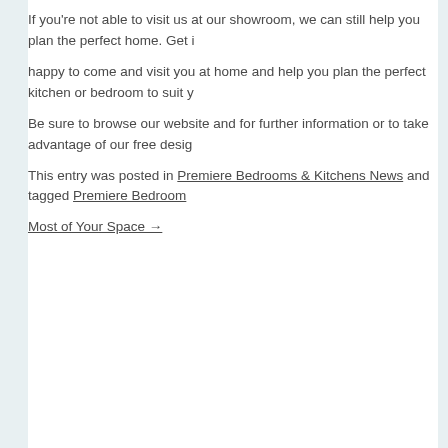If you're not able to visit us at our showroom, we can still help you plan the perfect home. Get i happy to come and visit you at home and help you plan the perfect kitchen or bedroom to suit y Be sure to browse our website and for further information or to take advantage of our free desig
This entry was posted in Premiere Bedrooms & Kitchens News and tagged Premiere Bedroom Most of Your Space →